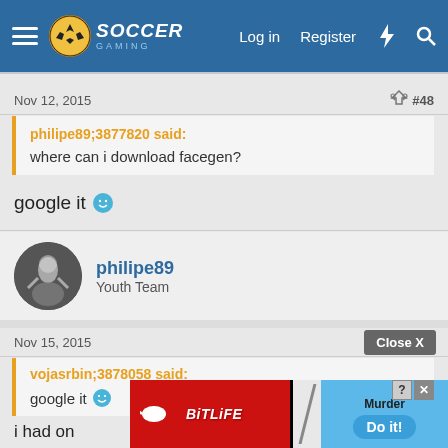Soccer Gaming forum header with logo, Log in, Register, and search icons
Nov 12, 2015   #48
philipe89;3877820 said:
where can i download facegen?
google it 🙂
philipe89
Youth Team
Nov 15, 2015   #49
vojasrbin;3878058 said:
google it 🙂
i had on
[Figure (screenshot): BitLife advertisement banner with Close X button and murder-themed game ad]